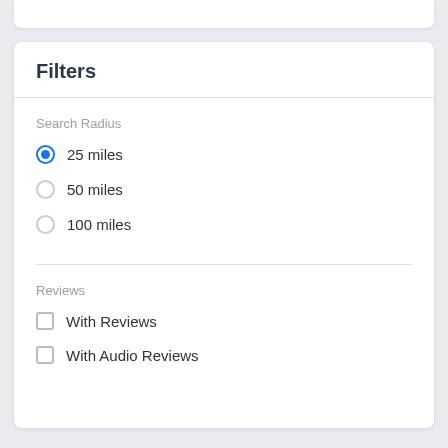Filters
Search Radius
25 miles
50 miles
100 miles
Reviews
With Reviews
With Audio Reviews